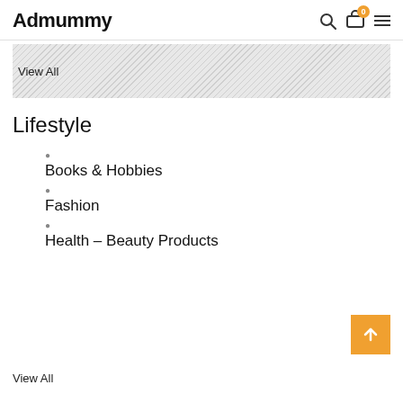Admummy
[Figure (screenshot): Banner placeholder area with diagonal hatching pattern and 'View All' text overlay]
Lifestyle
Books & Hobbies
Fashion
Health – Beauty Products
View All